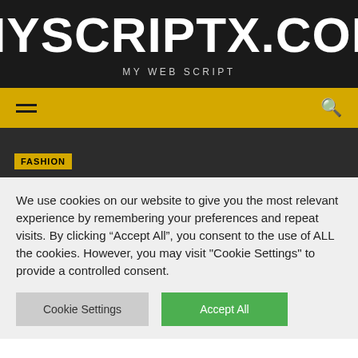MYSCRIPTX.COM
MY WEB SCRIPT
[Figure (screenshot): Yellow navigation bar with hamburger menu icon on left and search icon on right]
[Figure (screenshot): Dark background section with FASHION category tag in yellow]
We use cookies on our website to give you the most relevant experience by remembering your preferences and repeat visits. By clicking “Accept All”, you consent to the use of ALL the cookies. However, you may visit "Cookie Settings" to provide a controlled consent.
Cookie Settings
Accept All